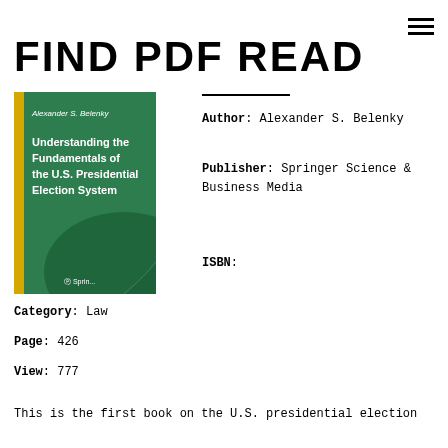FIND PDF READ
[Figure (illustration): Book cover of 'Understanding the Fundamentals of the U.S. Presidential Election System' by Alexander S. Belenky, published by Springer]
Author: Alexander S. Belenky
Publisher: Springer Science & Business Media
ISBN:
Category: Law
Page: 426
View: 777
This is the first book on the U.S. presidential election